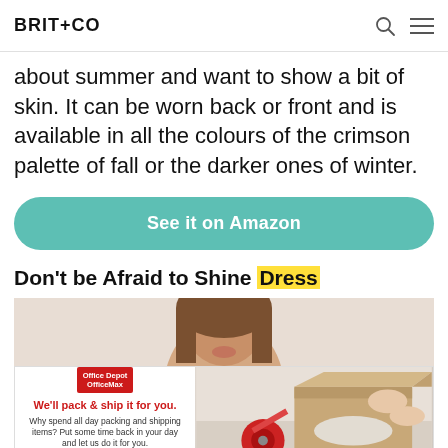BRIT+CO
about summer and want to show a bit of skin. It can be worn back or front and is available in all the colours of the crimson palette of fall or the darker ones of winter.
See it on Amazon
Don't be Afraid to Shine Dress
[Figure (photo): Photo of a smiling woman's face from the chin up, partially visible]
[Figure (photo): Office Depot OfficeMax advertisement banner: 'We'll pack & ship it for you.' with a person packing a box]